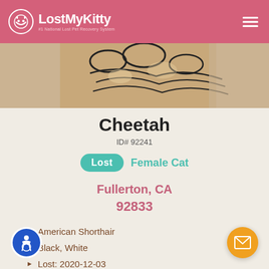LostMyKitty - #1 National Lost Pet Recovery System
[Figure (photo): Close-up photo of a cat with black and white markings, showing the cat's back/fur pattern]
Cheetah
ID# 92241
Lost Female Cat
Fullerton, CA 92833
American Shorthair
Black, White
Lost: 2020-12-03